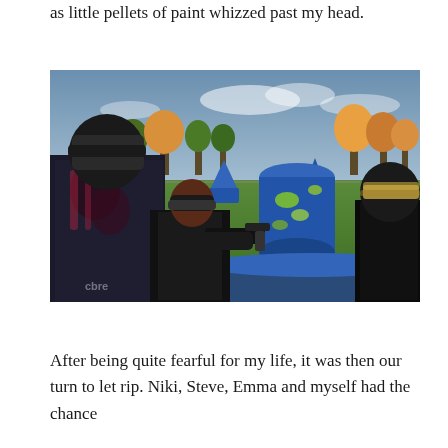as little pellets of paint whizzed past my head.
[Figure (photo): Outdoor paintball field scene showing three players from behind wearing protective gear and dark clothing, aiming paintball guns toward large blue inflatable cylindrical and cone-shaped obstacles on a grass field. Trees with autumn foliage are visible in the background under an overcast sky.]
After being quite fearful for my life, it was then our turn to let rip. Niki, Steve, Emma and myself had the chance